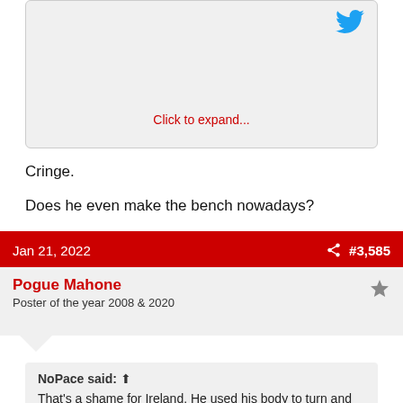[Figure (screenshot): Partial tweet card with Twitter bird logo and 'Click to expand...' link in red]
Click to expand...
Cringe.
Does he even make the bench nowadays?
Jan 21, 2022  #3,585
Pogue Mahone
Poster of the year 2008 & 2020
NoPace said: ↑  That's a shame for Ireland. He used his body to turn and shield so